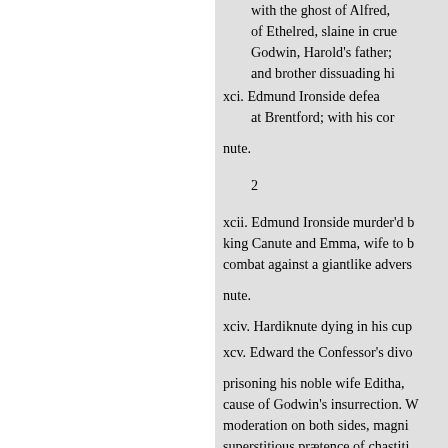with the ghost of Alfred, of Ethelred, slaine in crue Godwin, Harold's father; and brother dissuading hi
xci. Edmund Ironside defea at Brentford; with his cor
nute.
2
xcii. Edmund Ironside murder'd b king Canute and Emma, wife to b combat against a giantlike advers
nute.
xciv. Hardiknute dying in his cup
xcv. Edward the Confessor's divo
prisoning his noble wife Editha, cause of Godwin's insurrection. W moderation on both sides, magni superstitious præetence of chastiti
SCOTCH STORIES, OR RATH
xcvi. Athirco slain by Natholoch